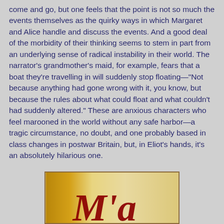come and go, but one feels that the point is not so much the events themselves as the quirky ways in which Margaret and Alice handle and discuss the events. And a good deal of the morbidity of their thinking seems to stem in part from an underlying sense of radical instability in their world. The narrator's grandmother's maid, for example, fears that a boat they're travelling in will suddenly stop floating—"Not because anything had gone wrong with it, you know, but because the rules about what could float and what couldn't had suddenly altered." These are anxious characters who feel marooned in the world without any safe harbor—a tragic circumstance, no doubt, and one probably based in class changes in postwar Britain, but, in Eliot's hands, it's an absolutely hilarious one.
[Figure (photo): Partial view of a book cover with decorative red script lettering on a golden/beige background, bordered by a brown frame.]